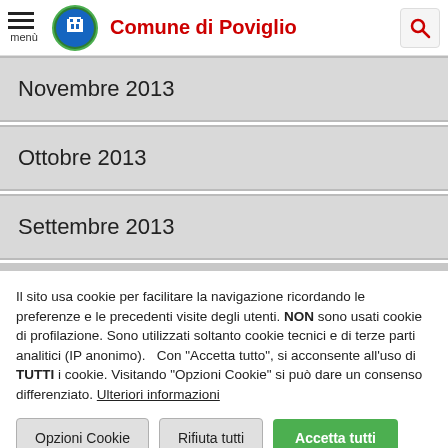Comune di Poviglio
Novembre 2013
Ottobre 2013
Settembre 2013
Il sito usa cookie per facilitare la navigazione ricordando le preferenze e le precedenti visite degli utenti. NON sono usati cookie di profilazione. Sono utilizzati soltanto cookie tecnici e di terze parti analitici (IP anonimo).   Con "Accetta tutto", si acconsente all'uso di TUTTI i cookie. Visitando "Opzioni Cookie" si può dare un consenso differenziato. Ulteriori informazioni